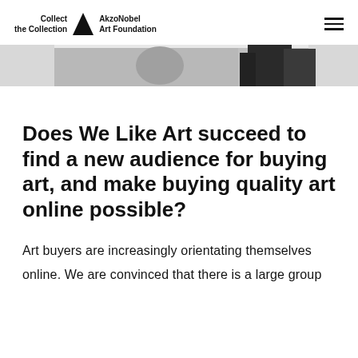Collect the Collection | AkzoNobel Art Foundation
[Figure (photo): Partial view of a black and white photograph showing figures, cropped at top of content area]
Does We Like Art succeed to find a new audience for buying art, and make buying quality art online possible?
Art buyers are increasingly orientating themselves online. We are convinced that there is a large group